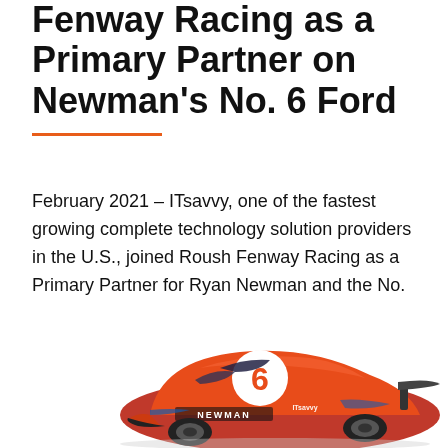Fenway Racing as a Primary Partner on Newman's No. 6 Ford
February 2021 – ITsavvy, one of the fastest growing complete technology solution providers in the U.S., joined Roush Fenway Racing as a Primary Partner for Ryan Newman and the No. 6 team for the 2021 NASCAR Cup Series.
[Figure (photo): Orange NASCAR No. 6 Ford race car with NEWMAN lettering on the side, viewed from a low angle showing the top and side of the car]